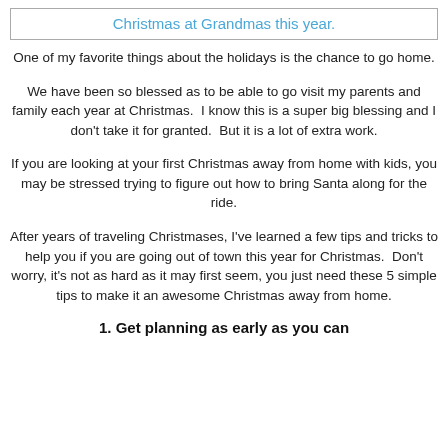Christmas at Grandmas this year.
One of my favorite things about the holidays is the chance to go home.
We have been so blessed as to be able to go visit my parents and family each year at Christmas.  I know this is a super big blessing and I don't take it for granted.  But it is a lot of extra work.
If you are looking at your first Christmas away from home with kids, you may be stressed trying to figure out how to bring Santa along for the ride.
After years of traveling Christmases, I've learned a few tips and tricks to help you if you are going out of town this year for Christmas.  Don't worry, it's not as hard as it may first seem, you just need these 5 simple tips to make it an awesome Christmas away from home.
1. Get planning as early as you can